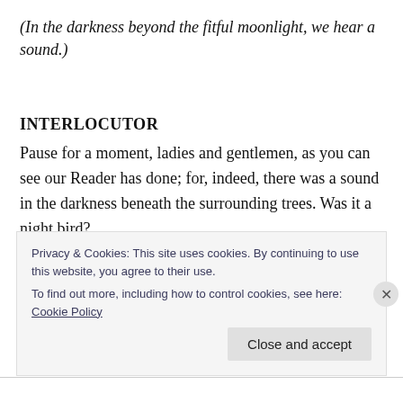(In the darkness beyond the fitful moonlight, we hear a sound.)
INTERLOCUTOR
Pause for a moment, ladies and gentlemen, as you can see our Reader has done; for, indeed, there was a sound in the darkness beneath the surrounding trees. Was it a night bird?
Observe her poise, listening over one shoulder.
Do you suppose she will maintain that poise when her belly is
Privacy & Cookies: This site uses cookies. By continuing to use this website, you agree to their use.
To find out more, including how to control cookies, see here: Cookie Policy